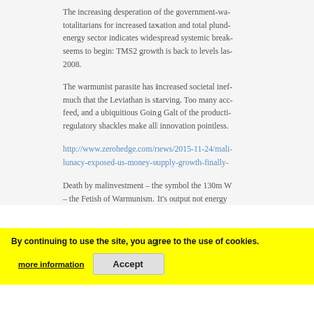The increasing desperation of the government-wa… totalitarians for increased taxation and total plund… energy sector indicates widespread systemic break… seems to begin: TMS2 growth is back to levels las… 2008.
The warmunist parasite has increased societal inef… much that the Leviathan is starving. Too many acc… feed, and a ubiquitious Going Galt of the producti… regulatory shackles make all innovation pointless.
http://www.zerohedge.com/news/2015-11-24/mali-lunacy-exposed-us-money-supply-growth-finally-
Death by malinvestment – the symbol the 130m W – the Fetish of Warmunism. It's output not energy
By continuing to use the site, you agree to the use of cookies.